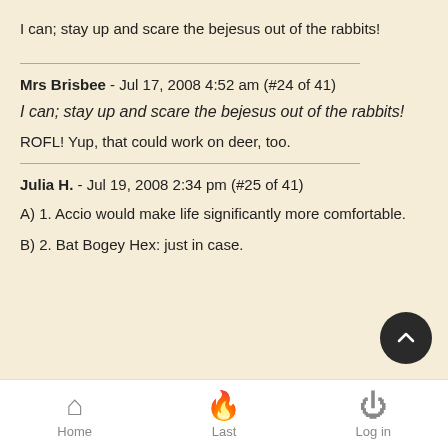I can; stay up and scare the bejesus out of the rabbits!
Mrs Brisbee - Jul 17, 2008 4:52 am (#24 of 41)
I can; stay up and scare the bejesus out of the rabbits!
ROFL! Yup, that could work on deer, too.
Julia H. - Jul 19, 2008 2:34 pm (#25 of 41)
A) 1. Accio would make life significantly more comfortable.
B) 2. Bat Bogey Hex: just in case.
Home   Last   Log in